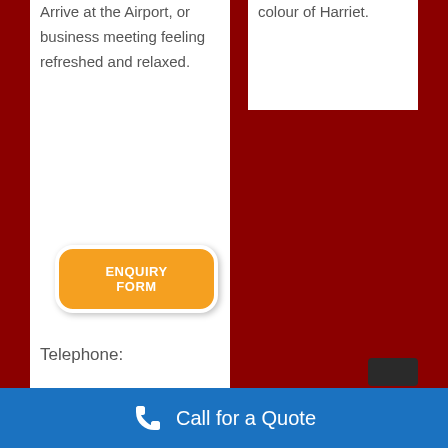colour of Harriet.
Arrive at the Airport, or business meeting feeling refreshed and relaxed.
ENQUIRY FORM
Telephone:
Call for a Quote